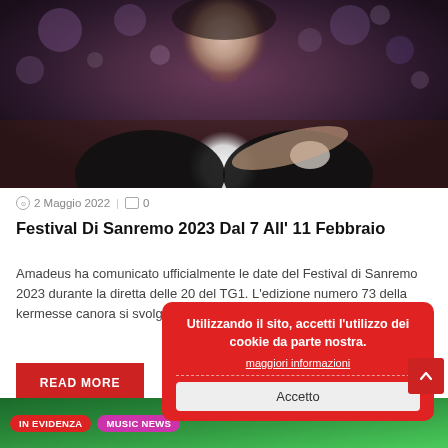[Figure (photo): Man in black jacket with white shirt pointing at camera, bokeh background with purple/dark lights]
2 Maggio 2022  |  0
Festival Di Sanremo 2023 Dal 7 All' 11 Febbraio
Amadeus ha comunicato ufficialmente le date del Festival di Sanremo 2023 durante la diretta delle 20 del TG1. L'edizione numero 73 della kermesse canora si svolgerà al Teatro Ariston di Sanremo dal 7
READ MORE
Utilizzando il sito, accetti l'utilizzo dei cookie da parte nostra.
maggiori informazioni
Accetto
IN EVIDENZA  MUSIC NEWS